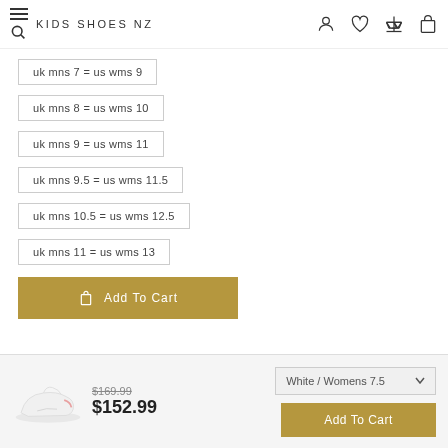KIDS SHOES NZ
uk mns 7 = us wms 9
uk mns 8 = us wms 10
uk mns 9 = us wms 11
uk mns 9.5 = us wms 11.5
uk mns 10.5 = us wms 12.5
uk mns 11 = us wms 13
Add To Cart
$169.99  $152.99  White / Womens 7.5  Add To Cart